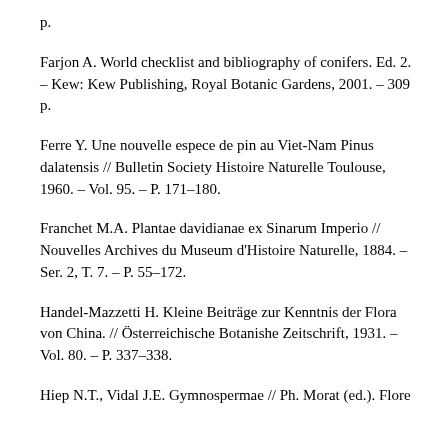p.
Farjon A. World checklist and bibliography of conifers. Ed. 2. – Kew: Kew Publishing, Royal Botanic Gardens, 2001. – 309 p.
Ferre Y. Une nouvelle espece de pin au Viet-Nam Pinus dalatensis // Bulletin Society Histoire Naturelle Toulouse, 1960. – Vol. 95. – P. 171–180.
Franchet M.A. Plantae davidianae ex Sinarum Imperio // Nouvelles Archives du Museum d'Histoire Naturelle, 1884. – Ser. 2, T. 7. – P. 55–172.
Handel-Mazzetti H. Kleine Beiträge zur Kenntnis der Flora von China. // Österreichische Botanishe Zeitschrift, 1931. – Vol. 80. – P. 337–338.
Hiep N.T., Vidal J.E. Gymnospermae // Ph. Morat (ed.). Flore